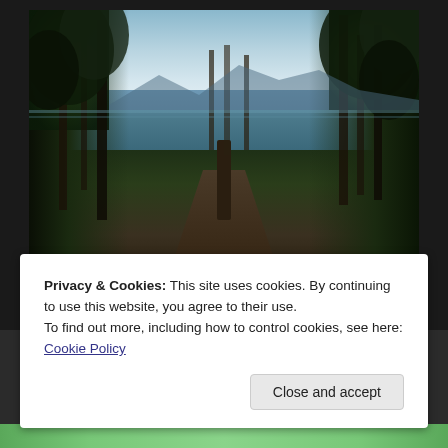[Figure (photo): A photograph showing a path leading through trees toward a lake with mountains visible in the background under a partly cloudy sky. The scene is at Beaumont Provincial Park, with lush green trees on both sides of a dirt path, and a wooden post visible in the middle of the path.]
Another view of the lake at Beaumont Provincial Park.
Privacy & Cookies: This site uses cookies. By continuing to use this website, you agree to their use.
To find out more, including how to control cookies, see here: Cookie Policy
Close and accept